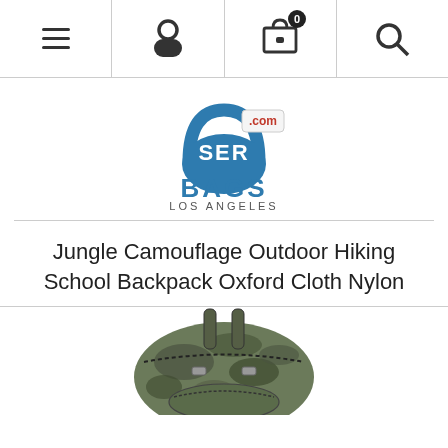Navigation bar with menu, profile, cart (0), and search icons
[Figure (logo): SER BAGS LOS ANGELES logo with blue bag icon and red tag reading .com]
Jungle Camouflage Outdoor Hiking School Backpack Oxford Cloth Nylon
[Figure (photo): Jungle camouflage outdoor hiking school backpack, partially visible at the bottom of the page]